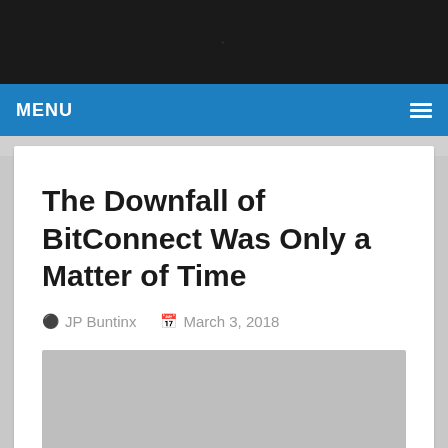MENU
The Downfall of BitConnect Was Only a Matter of Time
JP Buntinx   March 3, 2018
[Figure (photo): Article featured image placeholder (gray rectangle)]